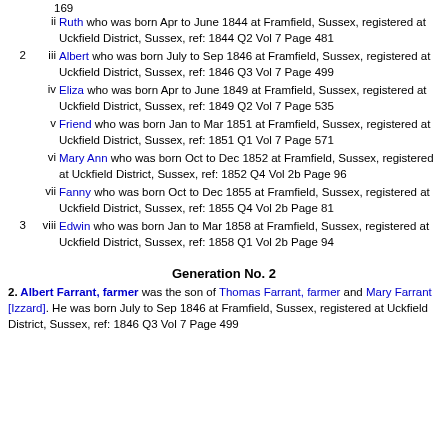Ruth who was born Apr to June 1844 at Framfield, Sussex, registered at Uckfield District, Sussex, ref: 1844 Q2 Vol 7 Page 481
Albert who was born July to Sep 1846 at Framfield, Sussex, registered at Uckfield District, Sussex, ref: 1846 Q3 Vol 7 Page 499
Eliza who was born Apr to June 1849 at Framfield, Sussex, registered at Uckfield District, Sussex, ref: 1849 Q2 Vol 7 Page 535
Friend who was born Jan to Mar 1851 at Framfield, Sussex, registered at Uckfield District, Sussex, ref: 1851 Q1 Vol 7 Page 571
Mary Ann who was born Oct to Dec 1852 at Framfield, Sussex, registered at Uckfield District, Sussex, ref: 1852 Q4 Vol 2b Page 96
Fanny who was born Oct to Dec 1855 at Framfield, Sussex, registered at Uckfield District, Sussex, ref: 1855 Q4 Vol 2b Page 81
Edwin who was born Jan to Mar 1858 at Framfield, Sussex, registered at Uckfield District, Sussex, ref: 1858 Q1 Vol 2b Page 94
Generation No. 2
2. Albert Farrant, farmer was the son of Thomas Farrant, farmer and Mary Farrant [Izzard]. He was born July to Sep 1846 at Framfield, Sussex, registered at Uckfield District, Sussex, ref: 1846 Q3 Vol 7 Page 499